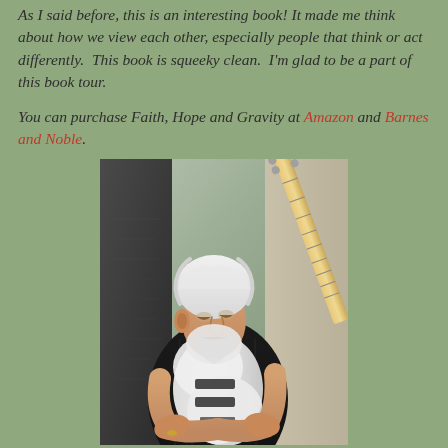As I said before, this is an interesting book! It made me think about how we view each other, especially people that think or act differently. This book is squeeky clean. I'm glad to be a part of this book tour.
You can purchase Faith, Hope and Gravity at Amazon and Barnes and Noble.
[Figure (photo): An older man with white hair and beard, wearing a black pinstripe shirt, hugging a white electric guitar with a maple neck, leaning against a dark stone monument or wall, outdoors.]